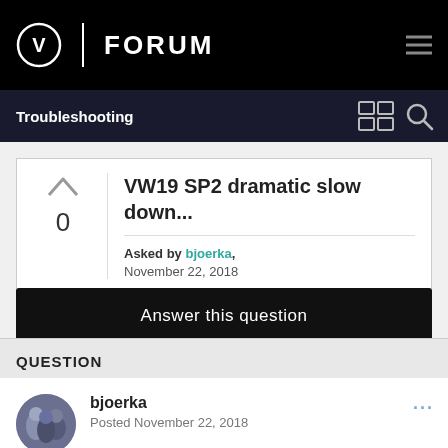FORUM | Troubleshooting
VW19 SP2 dramatic slow down...
Asked by bjoerka, November 22, 2018
Answer this question
QUESTION
bjoerka
Posted November 22, 2018